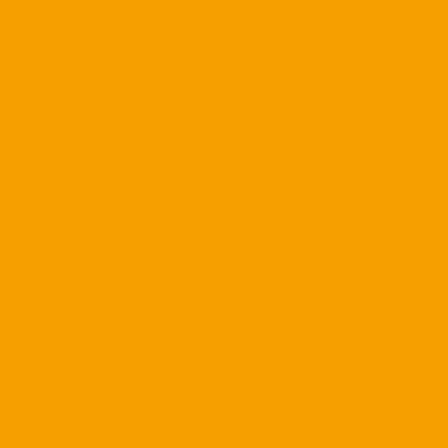[Figure (illustration): Orange sidebar panel occupying the left ~45% of the page]
visiting his ailing mother, Cla... It's also home to some of the country and situated in a city, extremely well. Returning Mia championship since 2003 wh years of national prominence offensive lineman from 1989- last four head coaches. But t alum with resources available only dreamed of might be mo

So what's it going to be: The Swoosh or Three Stripes? Un Sebastian the Ibis? The O or

Either way Cristobal will have vowel. This is about far more
Posted by: nemo2020 | December
[Figure (photo): Small avatar photo showing two people, used as commenter profile image]
Huge mistake if he stays! He his life! IMO
However, a good AD will fire